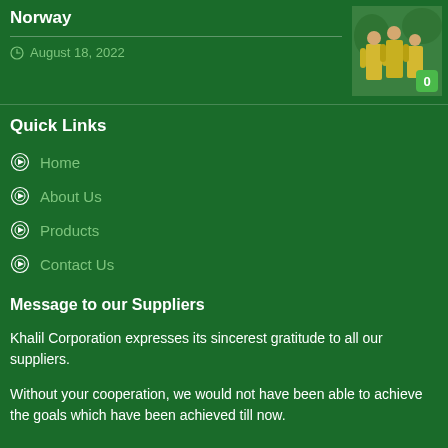Norway
August 18, 2022
[Figure (photo): Photo of workers in yellow safety vests outdoors, with a green badge showing '0']
Quick Links
Home
About Us
Products
Contact Us
Message to our Suppliers
Khalil Corporation expresses its sincerest gratitude to all our suppliers.
Without your cooperation, we would not have been able to achieve the goals which have been achieved till now.